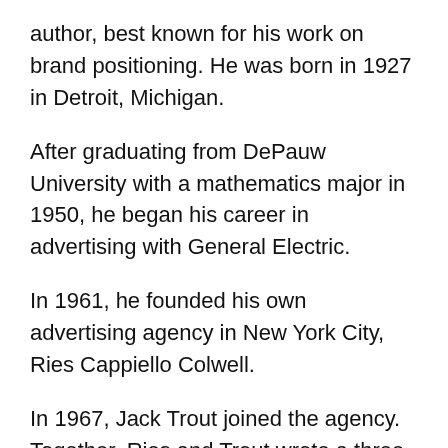author, best known for his work on brand positioning. He was born in 1927 in Detroit, Michigan.
After graduating from DePauw University with a mathematics major in 1950, he began his career in advertising with General Electric.
In 1961, he founded his own advertising agency in New York City, Ries Cappiello Colwell.
In 1967, Jack Trout joined the agency. Together, Ries and Trout wrote a three-part series of articles for the Advertising Age in 1972. The themes discussed in that series of articles inspired their later book, Positioning: